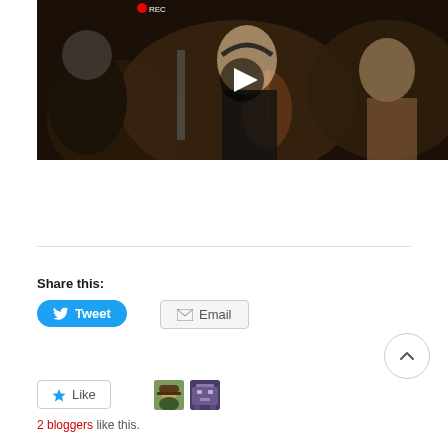[Figure (photo): Video thumbnail of an orchestra performance showing a female violinist with headphones, other musicians visible. Has a play button overlay in the center. Recording indicator visible top-left.]
Share this:
Tweet
Email
[Figure (other): Scroll-to-top button: circular button with upward caret/chevron icon]
Like
[Figure (photo): Small avatar thumbnail 1 - person in hat]
[Figure (photo): Small avatar thumbnail 2 - pixel art robot icon]
2 bloggers like this.